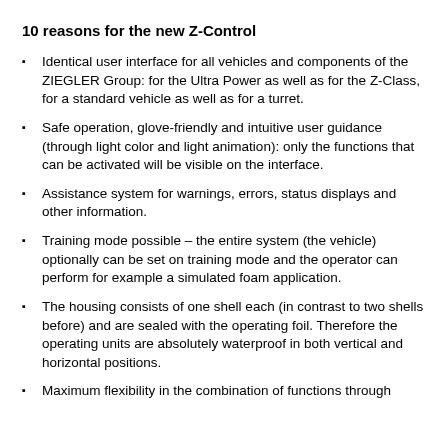10 reasons for the new Z-Control
Identical user interface for all vehicles and components of the ZIEGLER Group: for the Ultra Power as well as for the Z-Class, for a standard vehicle as well as for a turret.
Safe operation, glove-friendly and intuitive user guidance (through light color and light animation): only the functions that can be activated will be visible on the interface.
Assistance system for warnings, errors, status displays and other information.
Training mode possible – the entire system (the vehicle) optionally can be set on training mode and the operator can perform for example a simulated foam application.
The housing consists of one shell each (in contrast to two shells before) and are sealed with the operating foil. Therefore the operating units are absolutely waterproof in both vertical and horizontal positions.
Maximum flexibility in the combination of functions through